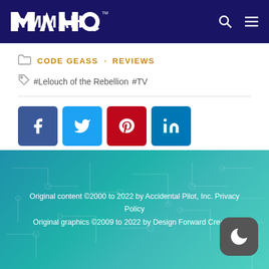MAHQ
CODE GEASS  REVIEWS
#Lelouch of the Rebellion  #TV
[Figure (other): Social share buttons: Facebook, Twitter, Pinterest, LinkedIn]
Original content ©2000 to 2022 by Accidental Pilot, Inc. Privacy Policy
Original graphics ©2009 to 2022 by Design Forward Creative